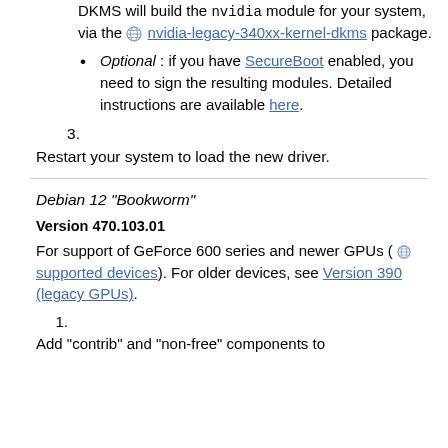DKMS will build the nvidia module for your system, via the nvidia-legacy-340xx-kernel-dkms package.
Optional : if you have SecureBoot enabled, you need to sign the resulting modules. Detailed instructions are available here.
3. Restart your system to load the new driver.
Debian 12 "Bookworm"
Version 470.103.01
For support of GeForce 600 series and newer GPUs ( supported devices). For older devices, see Version 390 (legacy GPUs).
1. Add "contrib" and "non-free" components to